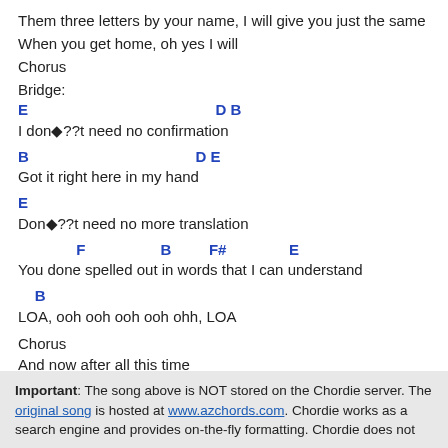Them three letters by your name, I will give you just the same
When you get home, oh yes I will
Chorus
Bridge:
E                                           D B
I don◆??t need no confirmation
B                                      D E
Got it right here in my hand
E
Don◆??t need no more translation
F                  B         F#              E
You done spelled out in words that I can understand
B
LOA, ooh ooh ooh ooh ohh, LOA
Chorus
And now after all this time
I◆??ve got lovin◆?? on my mind
LOA
Important: The song above is NOT stored on the Chordie server. The original song is hosted at www.azchords.com. Chordie works as a search engine and provides on-the-fly formatting. Chordie does not